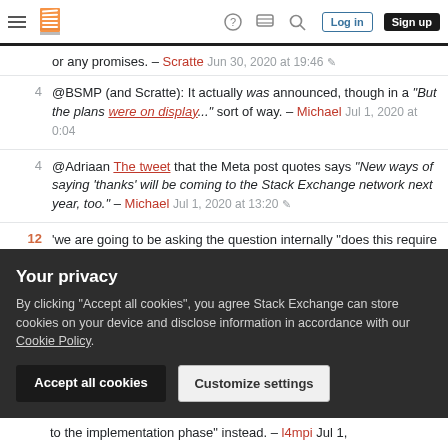Stack Exchange navigation bar with hamburger menu, logo, help, chat, search icons, Log in and Sign up buttons
or any promises. – Scratte Jun 30, 2020 at 19:46
@BSMP (and Scratte): It actually was announced, though in a "But the plans were on display..." sort of way. – Michael Jul 1, 2020 at 0:04
@Adriaan The tweet that the Meta post quotes says "New ways of saying 'thanks' will be coming to the Stack Exchange network next year, too." – Michael Jul 1, 2020 at 13:20
'we are going to be asking the question internally "does this require a public announcement" much earlier in the process' - for me this comment misses the point and feels like you either don't know the
Your privacy
By clicking "Accept all cookies", you agree Stack Exchange can store cookies on your device and disclose information in accordance with our Cookie Policy.
Accept all cookies   Customize settings
to the implementation phase" instead. – l4mpi Jul 1,